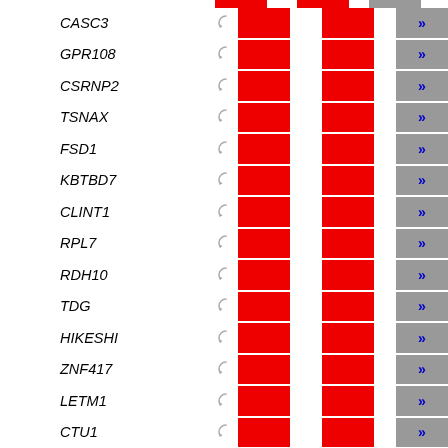[Figure (infographic): Gene list table with gene names in italic, recycling/refresh icons, red expression boxes in two columns, and gray boxes with blue double-arrow icons. Genes listed: CASC3, GPR108, CSRNP2, TSNAX, FSD1, KBTBD7, CLINT1, RPL7, RDH10, TDG, HIKESHI, ZNF417, LETM1, CTU1, GTF2H4]